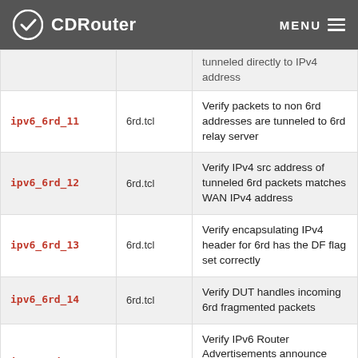CDRouter  MENU
| Test Name | File | Description |
| --- | --- | --- |
|  |  | tunneled directly to IPv4 address |
| ipv6_6rd_11 | 6rd.tcl | Verify packets to non 6rd addresses are tunneled to 6rd relay server |
| ipv6_6rd_12 | 6rd.tcl | Verify IPv4 src address of tunneled 6rd packets matches WAN IPv4 address |
| ipv6_6rd_13 | 6rd.tcl | Verify encapsulating IPv4 header for 6rd has the DF flag set correctly |
| ipv6_6rd_14 | 6rd.tcl | Verify DUT handles incoming 6rd fragmented packets |
| ipv6_6rd_100 | 6rd.tcl | Verify IPv6 Router Advertisements announce new 6rd prefix when IPv4 WAN changes |
| ipv6_6rd_101 | 6rd.tcl | Verify DUT updates global IPv6 address after IPv4 WAN change |
| ipv6_6rd_102 | 6rd.tcl | Verify DUT forwards tunneled IPv6 |